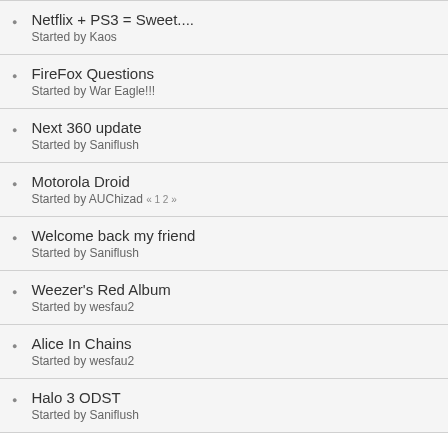Netflix + PS3 = Sweet....
Started by Kaos
FireFox Questions
Started by War Eagle!!!
Next 360 update
Started by Saniflush
Motorola Droid
Started by AUChizad « 1 2 »
Welcome back my friend
Started by Saniflush
Weezer's Red Album
Started by wesfau2
Alice In Chains
Started by wesfau2
Halo 3 ODST
Started by Saniflush